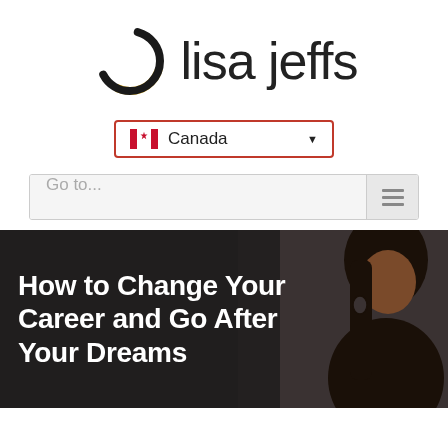[Figure (logo): Lisa Jeffs logo: a circle ring in black and yellow with the text 'lisa jeffs' in dark gray]
[Figure (screenshot): Country selector dropdown showing Canadian flag and 'Canada' text with dropdown arrow, bordered in red]
[Figure (screenshot): Navigation Go to... search bar with hamburger menu icon on the right]
[Figure (photo): Hero banner image with dark background, woman visible on right, bold white text overlay reading 'How to Change Your Career and Go After Your Dreams']